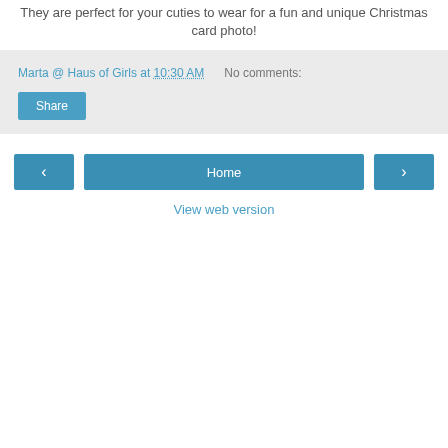They are perfect for your cuties to wear for a fun and unique Christmas card photo!
Marta @ Haus of Girls at 10:30 AM   No comments:
Share
Home
View web version